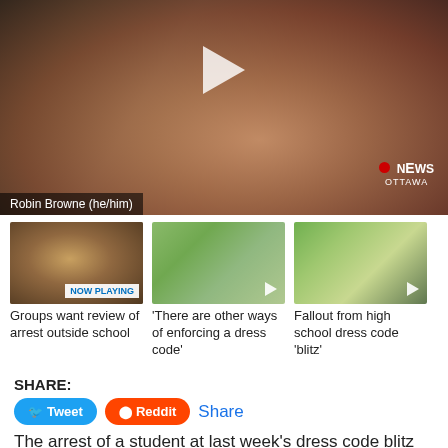[Figure (screenshot): Video thumbnail showing a person (Robin Browne he/him) with CBC News Ottawa logo and play button overlay]
Robin Browne (he/him)
[Figure (screenshot): Thumbnail showing a man with glasses labeled NOW PLAYING - Groups want review of arrest outside school]
Groups want review of arrest outside school
[Figure (screenshot): Thumbnail showing two people walking outside - 'There are other ways of enforcing a dress code']
'There are other ways of enforcing a dress code'
[Figure (screenshot): Thumbnail showing a crowd and police car - Fallout from high school dress code 'blitz']
Fallout from high school dress code 'blitz'
SHARE:
Tweet  Reddit  Share
The arrest of a student at last week's dress code blitz protest outside an Orléans high school has five community groups demanding answers.